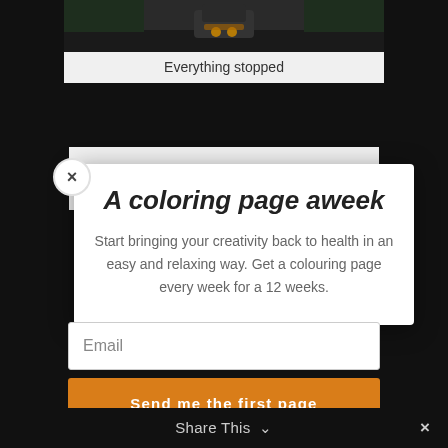[Figure (photo): Partial view of a car on a dark road, background blog image]
Everything stopped
Yesterday I got stuck in a line, waiting for the cops to clear the road after an
A coloring page aweek
Start bringing your creativity back to health in an easy and relaxing way. Get a colouring page every week for a 12 weeks.
Email
Send me the first page
Share This